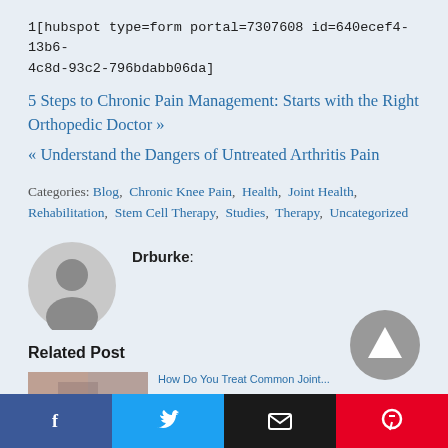1[hubspot type=form portal=7307608 id=640ecef4-13b6-4c8d-93c2-796bdabb06da]
5 Steps to Chronic Pain Management: Starts with the Right Orthopedic Doctor »
« Understand the Dangers of Untreated Arthritis Pain
Categories: Blog, Chronic Knee Pain, Health, Joint Health, Rehabilitation, Stem Cell Therapy, Studies, Therapy, Uncategorized
Drburke:
[Figure (illustration): Grey avatar/profile placeholder circle with a user silhouette icon]
Related Post
[Figure (photo): Thumbnail image for a related post, partially visible at bottom left]
How Do You Treat Common Joint...
[Figure (infographic): Scroll-to-top button: dark grey circle with upward pointing triangle]
[Figure (infographic): Social sharing bar with Facebook (blue), Twitter (light blue), Email (black), and Pinterest (red) buttons]